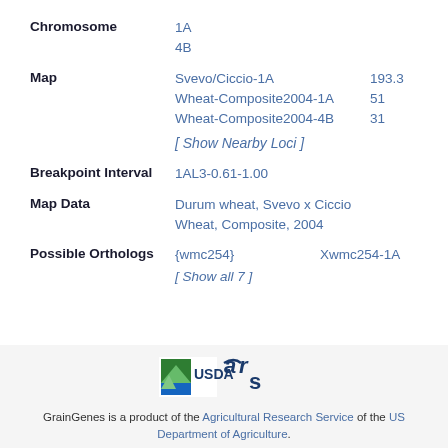Chromosome: 1A, 4B
Map: Svevo/Ciccio-1A 193.3, Wheat-Composite2004-1A 51, Wheat-Composite2004-4B 31
[ Show Nearby Loci ]
Breakpoint Interval: 1AL3-0.61-1.00
Map Data: Durum wheat, Svevo x Ciccio Wheat, Composite, 2004
Possible Orthologs: {wmc254} Xwmc254-1A [ Show all 7 ]
[Figure (logo): USDA ARS logo with green mountain/field graphic and stylized text]
GrainGenes is a product of the Agricultural Research Service of the US Department of Agriculture.